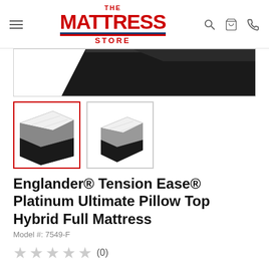The Mattress Store — navigation header with logo and icons
[Figure (photo): Close-up of mattress corner against dark background, showing black sides and white pillow top]
[Figure (photo): Thumbnail 1 (active, red border): Mattress shown at angle with white pillow top and black sides]
[Figure (photo): Thumbnail 2: Mattress shown at angle with white pillow top and black sides]
Englander® Tension Ease® Platinum Ultimate Pillow Top Hybrid Full Mattress
Model #: 7549-F
★★★★★ (0)
At a Glance